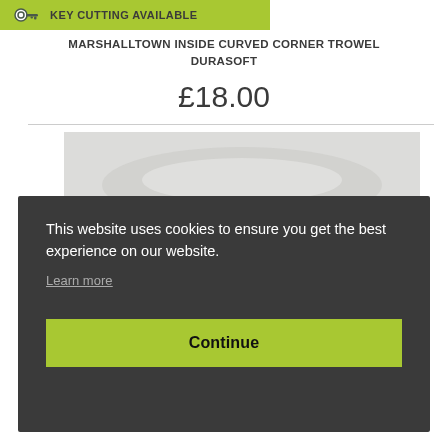KEY CUTTING AVAILABLE
MARSHALLTOWN INSIDE CURVED CORNER TROWEL DURASOFT
£18.00
[Figure (photo): Product image of a curved corner trowel on light grey background]
This website uses cookies to ensure you get the best experience on our website. Learn more
Continue